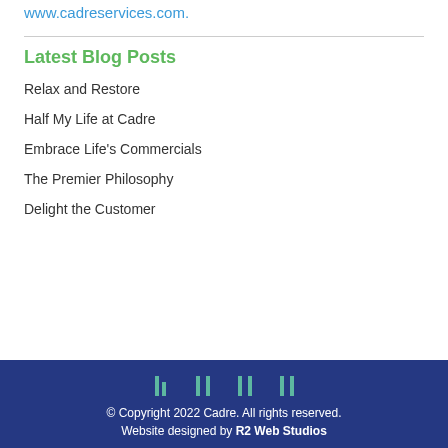www.cadreservices.com.
Latest Blog Posts
Relax and Restore
Half My Life at Cadre
Embrace Life's Commercials
The Premier Philosophy
Delight the Customer
© Copyright 2022 Cadre. All rights reserved. Website designed by R2 Web Studios